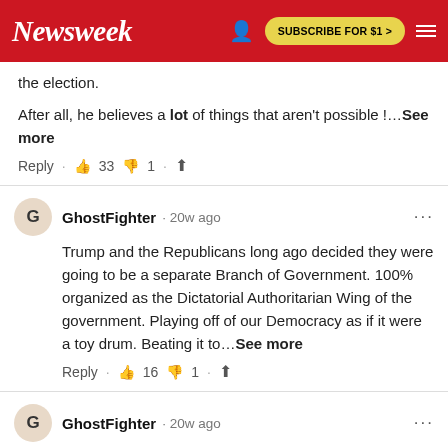Newsweek | SUBSCRIBE FOR $1 >
the election.
After all, he believes a lot of things that aren't possible !…See more
Reply · 👍 33 👎 1 · Share
GhostFighter · 20w ago
Trump and the Republicans long ago decided they were going to be a separate Branch of Government. 100% organized as the Dictatorial Authoritarian Wing of the government. Playing off of our Democracy as if it were a toy drum. Beating it to…See more
Reply · 👍 16 👎 1 · Share
GhostFighter · 20w ago
Where are Trumps Tax Returns??????? This should have been...